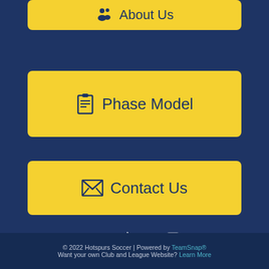[Figure (other): Yellow button with clipboard icon and text 'About Us' partially visible at top]
Phase Model
Contact Us
[Figure (other): Social media icons: Facebook, Twitter, Instagram in white on dark blue background]
© 2022 Hotspurs Soccer | Powered by TeamSnap® Want your own Club and League Website? Learn More